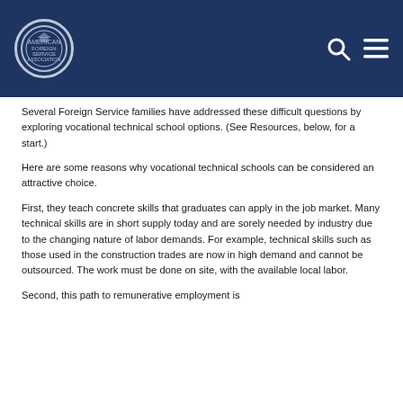American Foreign Service Association header with logo, search, and menu icons
Several Foreign Service families have addressed these difficult questions by exploring vocational technical school options. (See Resources, below, for a start.)
Here are some reasons why vocational technical schools can be considered an attractive choice.
First, they teach concrete skills that graduates can apply in the job market. Many technical skills are in short supply today and are sorely needed by industry due to the changing nature of labor demands. For example, technical skills such as those used in the construction trades are now in high demand and cannot be outsourced. The work must be done on site, with the available local labor.
Second, this path to remunerative employment is